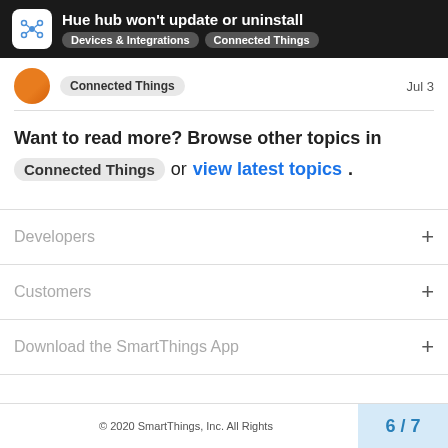Hue hub won't update or uninstall — Devices & Integrations | Connected Things
Connected Things   Jul 3
Want to read more? Browse other topics in Connected Things or view latest topics.
Developers
Customers
Download the SmartThings App
© 2020 SmartThings, Inc. All Rights   6 / 7